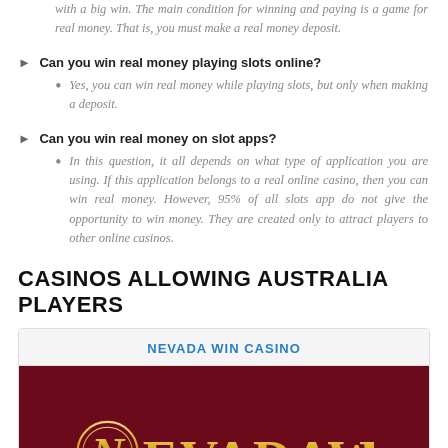with a big win. The main condition for winning and paying is a game for real money. That is, you must make a real money deposit.
Can you win real money playing slots online?
Yes, you can win real money while playing slots, but only when making a deposit.
Can you win real money on slot apps?
In this question, it all depends on what type of application you are using. If this application belongs to a real online casino, then you can win real money. However, 95% of all slots app do not give the opportunity to win money. They are created only to attract players to other online casinos.
CASINOS ALLOWING AUSTRALIA PLAYERS
[Figure (other): Nevada Win Casino card with dark red background and gold NEVADAWN logo text]